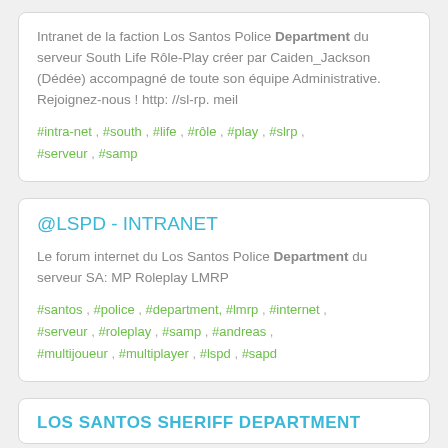Intranet de la faction Los Santos Police Department du serveur South Life Rôle-Play créer par Caiden_Jackson (Dédée) accompagné de toute son équipe Administrative. Rejoignez-nous ! http: //sl-rp. meil
#intra-net , #south , #life , #rôle , #play , #slrp , #serveur , #samp
@LSPD - INTRANET
Le forum internet du Los Santos Police Department du serveur SA: MP Roleplay LMRP
#santos , #police , #department, #lmrp , #internet , #serveur , #roleplay , #samp , #andreas , #multijoueur , #multiplayer , #lspd , #sapd
LOS SANTOS SHERIFF DEPARTMENT